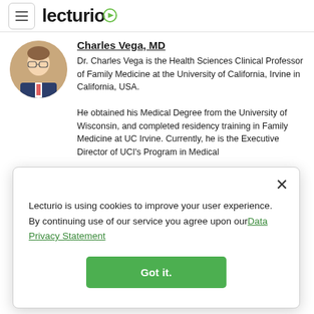Lecturio (navigation bar with hamburger menu and Lecturio logo)
Charles Vega, MD
Dr. Charles Vega is the Health Sciences Clinical Professor of Family Medicine at the University of California, Irvine in California, USA.
He obtained his Medical Degree from the University of Wisconsin, and completed residency training in Family Medicine at UC Irvine. Currently, he is the Executive Director of UCI's Program in Medical
Lecturio is using cookies to improve your user experience. By continuing use of our service you agree upon our Data Privacy Statement
Got it.